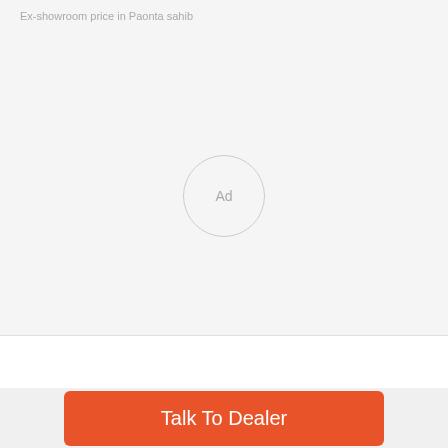Ex-showroom price in Paonta sahib
[Figure (other): Advertisement placeholder circle with 'Ad' text in center]
Tata Ace gold In News
Talk To Dealer